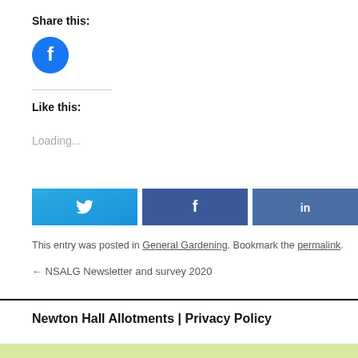Share this:
[Figure (logo): Facebook share icon - blue circle with white Facebook 'f' logo]
Like this:
Loading...
[Figure (other): Social share buttons: Twitter (blue), Facebook (dark blue), LinkedIn (steel blue)]
This entry was posted in General Gardening. Bookmark the permalink.
← NSALG Newsletter and survey 2020
Newton Hall Allotments  |  Privacy Policy